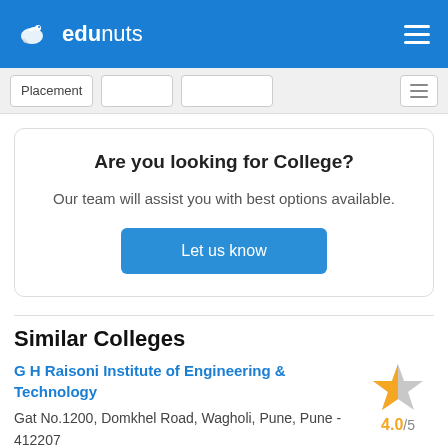edunuts
Placement
Are you looking for College?
Our team will assist you with best options available.
Let us know
Similar Colleges
G H Raisoni Institute of Engineering & Technology
Gat No.1200, Domkhel Road, Wagholi, Pune, Pune - 412207
4.0/5